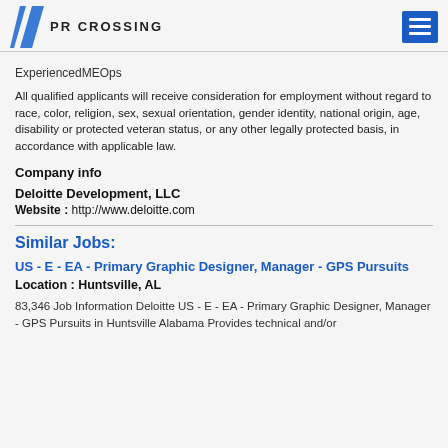PR CROSSING
ExperiencedMEOps
All qualified applicants will receive consideration for employment without regard to race, color, religion, sex, sexual orientation, gender identity, national origin, age, disability or protected veteran status, or any other legally protected basis, in accordance with applicable law.
Company info
Deloitte Development, LLC
Website : http://www.deloitte.com
Similar Jobs:
US - E - EA - Primary Graphic Designer, Manager - GPS Pursuits
Location : Huntsville, AL
83,346 Job Information Deloitte US - E - EA - Primary Graphic Designer, Manager - GPS Pursuits in Huntsville Alabama Provides technical and/or creative support and advising in the design, development, and...